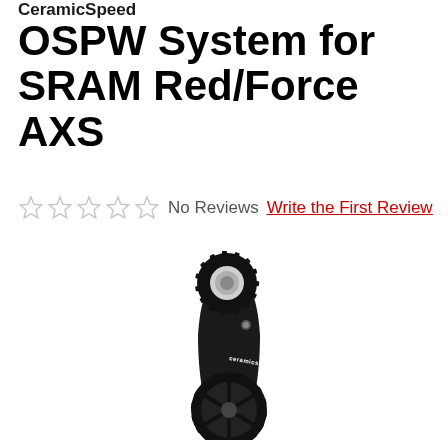CeramicSpeed
OSPW System for SRAM Red/Force AXS
No Reviews   Write the First Review
[Figure (photo): CeramicSpeed OSPW System product photo showing black alloy pulley cage with two oversized pulleys and CeramicSpeed branding on the arm, on white background]